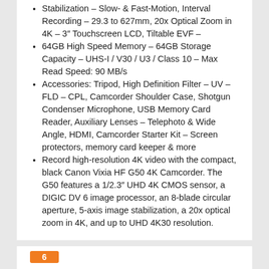Stabilization – Slow- & Fast-Motion, Interval Recording – 29.3 to 627mm, 20x Optical Zoom in 4K – 3″ Touchscreen LCD, Tiltable EVF –
64GB High Speed Memory – 64GB Storage Capacity – UHS-I / V30 / U3 / Class 10 – Max Read Speed: 90 MB/s
Accessories: Tripod, High Definition Filter – UV – FLD – CPL, Camcorder Shoulder Case, Shotgun Condenser Microphone, USB Memory Card Reader, Auxiliary Lenses – Telephoto & Wide Angle, HDMI, Camcorder Starter Kit – Screen protectors, memory card keeper & more
Record high-resolution 4K video with the compact, black Canon Vixia HF G50 4K Camcorder. The G50 features a 1/2.3″ UHD 4K CMOS sensor, a DIGIC DV 6 image processor, an 8-blade circular aperture, 5-axis image stabilization, a 20x optical zoom in 4K, and up to UHD 4K30 resolution.
6